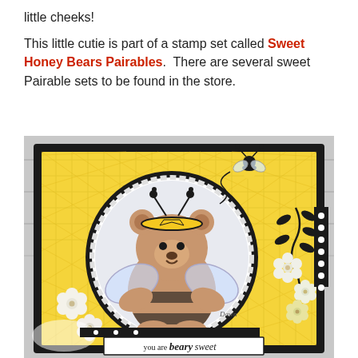little cheeks!
This little cutie is part of a stamp set called Sweet Honey Bears Pairables.  There are several sweet Pairable sets to be found in the store.
[Figure (photo): A handmade greeting card featuring a cute teddy bear dressed in a bumblebee costume, centered on a scalloped circular die-cut. The card has yellow plaid patterned paper, black borders, decorative bumblebees, black branch embellishments, white and yellow flowers, and the sentiment 'you are beary sweet' at the bottom. The card is photographed on a grey wood background.]